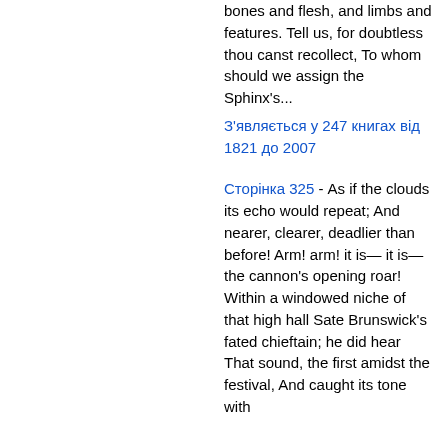bones and flesh, and limbs and features. Tell us, for doubtless thou canst recollect, To whom should we assign the Sphinx's...
З'являється у 247 книгах від 1821 до 2007
Сторінка 325 - As if the clouds its echo would repeat; And nearer, clearer, deadlier than before! Arm! arm! it is— it is— the cannon's opening roar! Within a windowed niche of that high hall Sate Brunswick's fated chieftain; he did hear That sound, the first amidst the festival, And caught its tone with